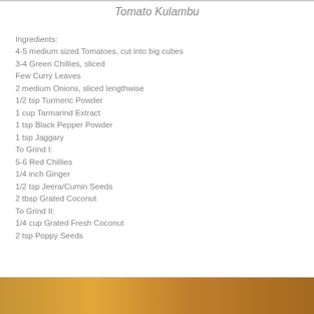Tomato Kulambu
Ingredients:
4-5 medium sized Tomatoes, cut into big cubes
3-4 Green Chillies, sliced
Few Curry Leaves
2 medium Onions, sliced lengthwise
1/2 tsp Turmeric Powder
1 cup Tarmarind Extract
1 tsp Black Pepper Powder
1 tsp Jaggary
To Grind I:
5-6 Red Chillies
1/4 inch Ginger
1/2 tsp Jeera/Cumin Seeds
2 tbsp Grated Coconut
To Grind II:
1/4 cup Grated Fresh Coconut
2 tsp Poppy Seeds
[Figure (photo): Food photo showing a dish, visible at the bottom of the page]